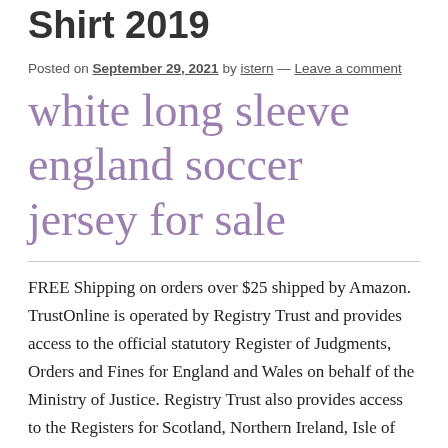Shirt 2019
Posted on September 29, 2021 by istern — Leave a comment
white long sleeve england soccer jersey for sale
FREE Shipping on orders over $25 shipped by Amazon. TrustOnline is operated by Registry Trust and provides access to the official statutory Register of Judgments, Orders and Fines for England and Wales on behalf of the Ministry of Justice. Registry Trust also provides access to the Registers for Scotland, Northern Ireland, Isle of Man, Jersey and the Republic of Ireland by agreement with the authorities in those jurisdictions. The closing data has